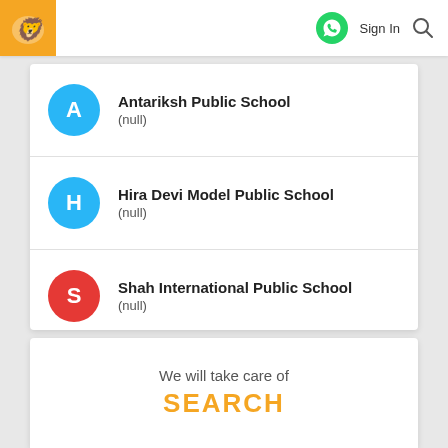Sign In
Antariksh Public School
(null)
Hira Devi Model Public School
(null)
Shah International Public School
(null)
Gurusharan Convent School
(null)
We will take care of
SEARCH